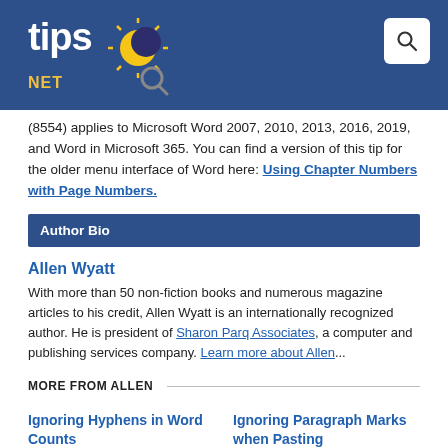tips.NET
(8554) applies to Microsoft Word 2007, 2010, 2013, 2016, 2019, and Word in Microsoft 365. You can find a version of this tip for the older menu interface of Word here: Using Chapter Numbers with Page Numbers.
Author Bio
Allen Wyatt
With more than 50 non-fiction books and numerous magazine articles to his credit, Allen Wyatt is an internationally recognized author. He is president of Sharon Parq Associates, a computer and publishing services company. Learn more about Allen...
MORE FROM ALLEN
Ignoring Hyphens in Word Counts
When you instruct Word to tell you
Ignoring Paragraph Marks when Pasting
Paste information in a worksheet,